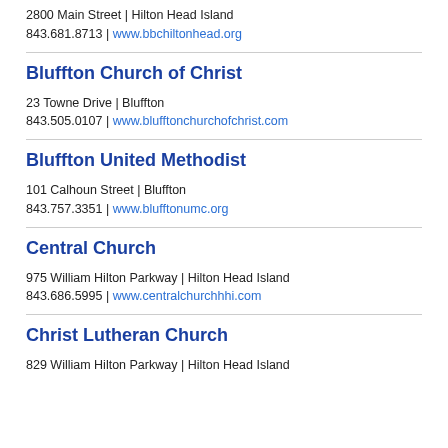2800 Main Street | Hilton Head Island
843.681.8713 | www.bbchiltonhead.org
Bluffton Church of Christ
23 Towne Drive | Bluffton
843.505.0107 | www.blufftonchurchofchrist.com
Bluffton United Methodist
101 Calhoun Street | Bluffton
843.757.3351 | www.blufftonumc.org
Central Church
975 William Hilton Parkway | Hilton Head Island
843.686.5995 | www.centralchurchhhi.com
Christ Lutheran Church
829 William Hilton Parkway | Hilton Head Island